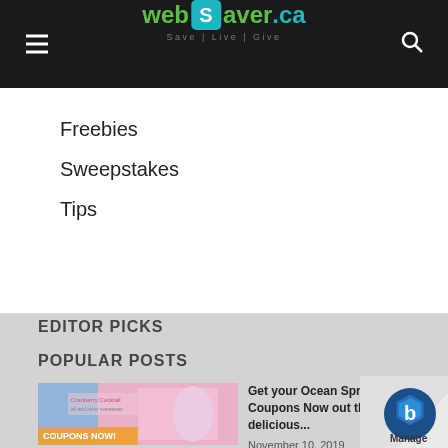webSaver.ca — Save | Live | Give
Freebies
Sweepstakes
Tips
EDITOR PICKS
POPULAR POSTS
[Figure (photo): Ocean Spray Cranberry Cocktail product image with coupons now button]
Get your Ocean Spray Coupons Now out these delicious...
November 10, 2019
[Figure (logo): Manage widget logo in bottom right corner]